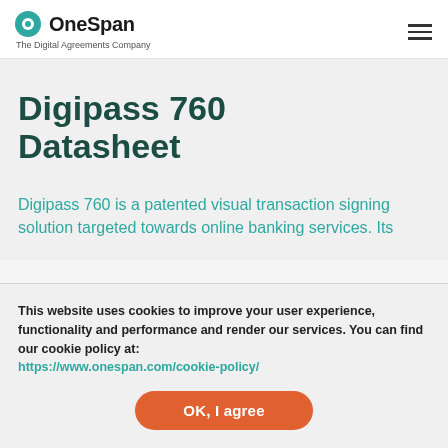OneSpan — The Digital Agreements Company
Digipass 760 Datasheet
Digipass 760 is a patented visual transaction signing solution targeted towards online banking services. Its
This website uses cookies to improve your user experience, functionality and performance and render our services. You can find our cookie policy at: https://www.onespan.com/cookie-policy/
OK, I agree